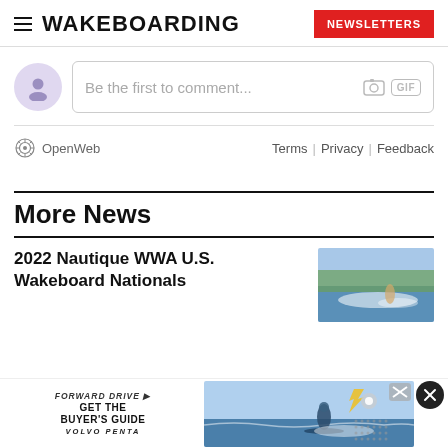WAKEBOARDING | NEWSLETTERS
Be the first to comment...
OpenWeb  Terms | Privacy | Feedback
More News
2022 Nautique WWA U.S. Wakeboard Nationals
[Figure (photo): Photo thumbnail of wakeboarding event on water]
[Figure (photo): Advertisement: Forward Drive - Get the Buyer's Guide - Volvo Penta, with wakeboarding imagery]